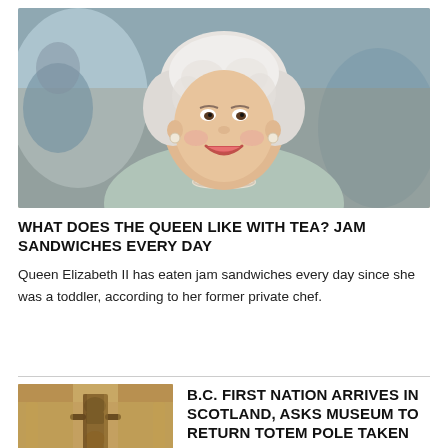[Figure (photo): Queen Elizabeth II smiling, wearing pearl necklace and earrings, with white/silver hair, at a public event]
WHAT DOES THE QUEEN LIKE WITH TEA? JAM SANDWICHES EVERY DAY
Queen Elizabeth II has eaten jam sandwiches every day since she was a toddler, according to her former private chef.
[Figure (photo): A tall ornate totem pole displayed indoors, likely in a museum setting, with wooden carved figures, golden/brown tones]
B.C. FIRST NATION ARRIVES IN SCOTLAND, ASKS MUSEUM TO RETURN TOTEM POLE TAKEN